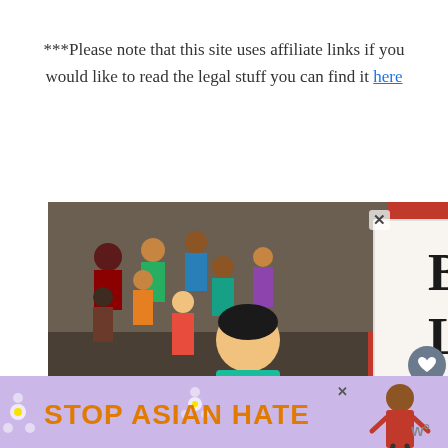***Please note that this site uses affiliate links if you would like to read the legal stuff you can find it here
[Figure (illustration): A colorful painted illustration showing a diverse crowd of protesters. In the foreground, a figure in a teal shirt holds a sign reading 'WE STAND WITH'. Behind them, a large white sign reads 'BLACK LIVES MATTER' in bold handwritten letters against a red background. Multiple figures with varied skin tones are visible in the crowd.]
[Figure (advertisement): Ad banner with lavender/purple background showing flower decorations, text 'STOP ASIAN HATE' in large orange/gold bold letters, and a cartoon figure on the right. An X close button appears in the upper right area of the banner.]